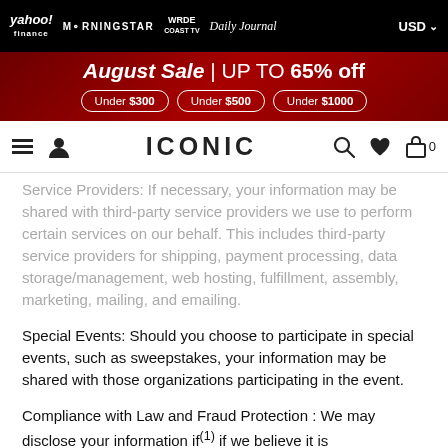yahoo! finance | MORNINGSTAR | WRDE COAST TV | Daily Journal | USD
[Figure (infographic): Red sale banner: August Sale | UP TO 65% off, with three buttons: Under $300, Under $500, Under $1000]
ICONIC — navigation bar with hamburger menu, user icon, search, heart, cart (0)
Service Providers: If necessary, your information may be shared with third-party service providers we use to perform certain services on our behalf. This includes third-party service providers for shipping, payment processing, data storage/management, web hosting, fulfillment, assembly, marketing, mailing, and emailing.
Special Events: Should you choose to participate in special events, such as sweepstakes, your information may be shared with those organizations participating in the event.
Compliance with Law and Fraud Protection : We may disclose your information if(1) if we believe it is...